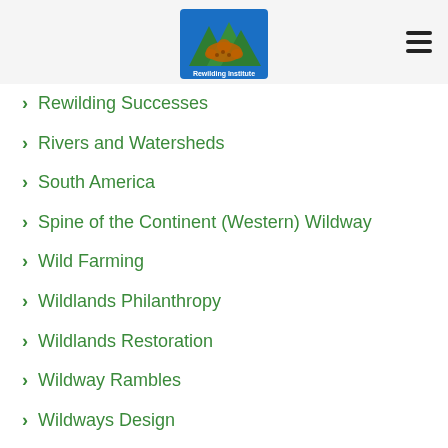[Figure (logo): Rewilding Institute logo — stylized green mountain peaks with an animal (possibly a jaguar/bear) inside a blue-bordered rectangle, with text 'Rewilding Institute' below]
Rewilding Successes
Rivers and Watersheds
South America
Spine of the Continent (Western) Wildway
Wild Farming
Wildlands Philanthropy
Wildlands Restoration
Wildway Rambles
Wildways Design
Young Leaders